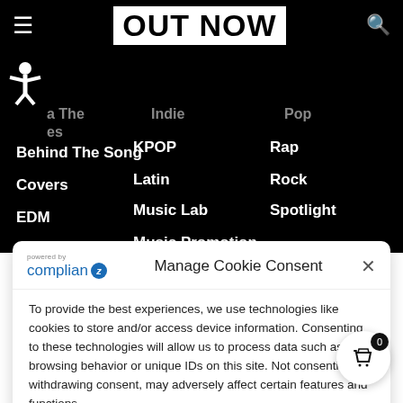OUT NOW
...a The ...es
Behind The Song
Covers
EDM
Indie
KPOP
Latin
Music Lab
Music Promotion
Pop
Rap
Rock
Spotlight
Manage Cookie Consent
To provide the best experiences, we use technologies like cookies to store and/or access device information. Consenting to these technologies will allow us to process data such as browsing behavior or unique IDs on this site. Not consenting or withdrawing consent, may adversely affect certain features and functions.
Accept
Cookie Policy   Privacy Statement   Imprint